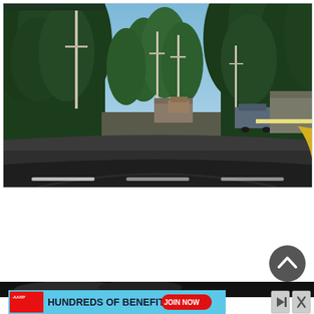[Figure (photo): Street view photo of a road leading into a forested area with tall evergreen trees on both sides, utility poles visible, and a parking area or small facility with vehicles and wooden structures visible in the distance. Blue sky visible above. Dark pavement road in foreground. Navigation dots/indicators along the bottom of the image.]
[Figure (photo): Partial view of a dark background image at the bottom of the page, partially obscured by an advertisement banner.]
[Figure (other): AARP advertisement banner with cyan/light blue background. Shows AARP logo on left, text 'HUNDREDS OF BENEFITS' in large dark text, and a red button 'JOIN NOW' on the right. Has a close button (X) and forward/skip button on the top right.]